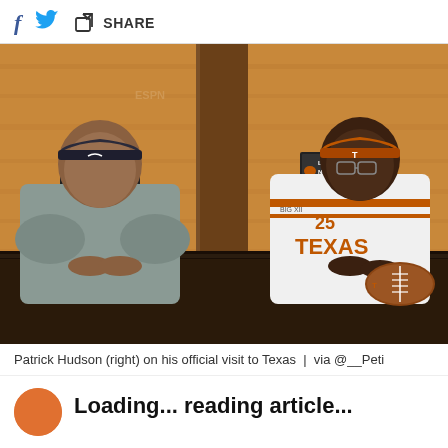f [Twitter bird icon] [Share icon] SHARE
[Figure (photo): Two men sitting at a desk in front of Longhorn Network ESPN studio backdrop. The man on the left wears a gray hoodie and dark baseball cap. The man on the right (Patrick Hudson) wears a Texas Longhorns football jersey (number 25) and orange Texas cap, with a Texas Longhorns football on the desk. Both make hand gestures.]
Patrick Hudson (right) on his official visit to Texas  |  via @__Peti
[Figure (photo): Orange circular avatar/profile image at bottom left, partially visible]